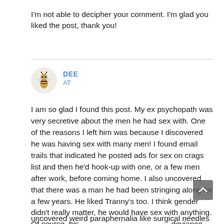I'm not able to decipher your comment. I'm glad you liked the post, thank you!
[Figure (illustration): Circular avatar with a bee or insect illustration on a beige/cream background]
DEE
AT
I am so glad I found this post. My ex psychopath was very secretive about the men he had sex with. One of the reasons I left him was because I discovered he was having sex with many men! I found email trails that indicated he posted ads for sex on crags list and then he'd hook-up with one, or a few men after work, before coming home. I also uncovered that there was a man he had been stringing along for a few years. He liked Tranny’s too. I think gender didn’t really matter, he would have sex with anything. Of course, his deviance threatened my health, so I had to leave. I also uncovered weird paraphernalia like surgical needles